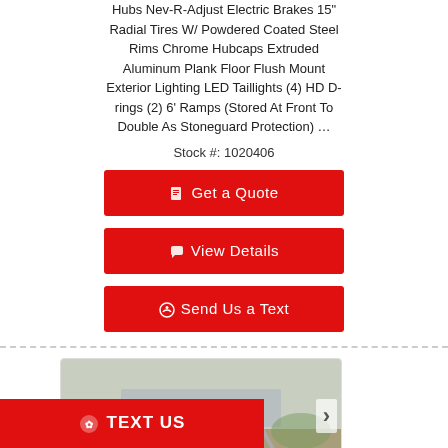Hubs Nev-R-Adjust Electric Brakes 15" Radial Tires W/ Powdered Coated Steel Rims Chrome Hubcaps Extruded Aluminum Plank Floor Flush Mount Exterior Lighting LED Taillights (4) HD D-rings (2) 6' Ramps (Stored At Front To Double As Stoneguard Protection) …
Stock #: 1020406
[Figure (other): Get a Quote red button]
[Figure (other): View Details red button]
[Figure (other): Send Us a Text red button]
[Figure (photo): Photo of a trailer flatbed on grass with ramps visible, shown inside a carousel with left and right arrows]
[Figure (other): TEXT US red button bar at bottom]